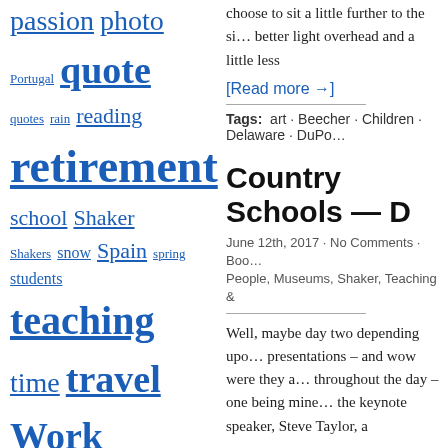passion photo Portugal quote quotes rain reading retirement school Shaker Shakers snow Spain spring students teaching time travel Work
choose to sit a little further to the si... better light overhead and a little less
[Read more →]
Tags:  art · Beecher · Children · Delaware · DuPo...
Country Schools — D
June 12th, 2017 · No Comments · Boo... People, Museums, Shaker, Teaching &
Well, maybe day two depending upo... presentations – and wow were they a... throughout the day – one being mine... the keynote speaker, Steve Taylor, a
[Read more →]
Tags:  19th century · Children · country s...